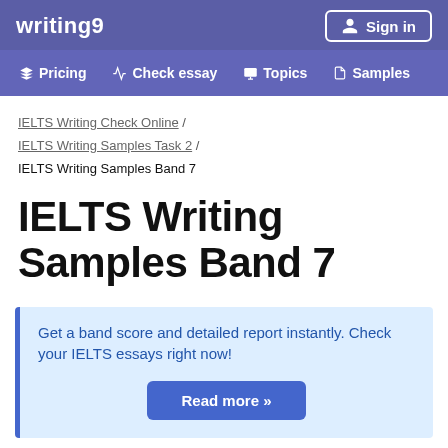writing9
Sign in
♦ Pricing  ✦ Check essay  ⬛ Topics  ☰ Samples
IELTS Writing Check Online / IELTS Writing Samples Task 2 / IELTS Writing Samples Band 7
IELTS Writing Samples Band 7
Get a band score and detailed report instantly. Check your IELTS essays right now!
Read more »